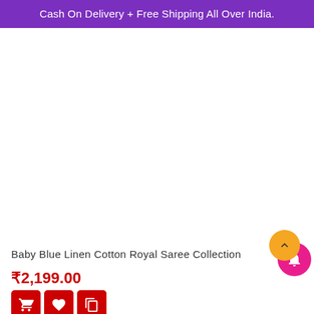Cash On Delivery + Free Shipping All Over India.
[Figure (photo): Product image area — Baby Blue Linen Cotton Royal Saree (image not loaded/blank white area)]
Baby Blue Linen Cotton Royal Saree Collection
₹2,199.00
[Figure (other): Action buttons: cart (red), wishlist/heart (red), copy/duplicate (red), and eye/view (red) icons]